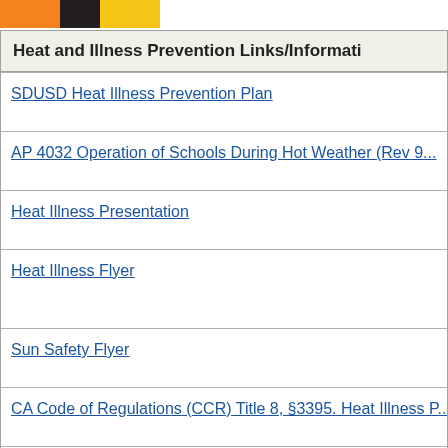[Figure (logo): Colored block logo with orange, black, and yellow segments]
| Heat and Illness Prevention Links/Information |
| --- |
| SDUSD Heat Illness Prevention Plan |
| AP 4032 Operation of Schools During Hot Weather (Rev 9... |
| Heat Illness Presentation |
| Heat Illness Flyer |
| Sun Safety Flyer |
| CA Code of Regulations (CCR) Title 8, §3395. Heat Illness P... |
| National Weather Service (NOAA) – San Diego County Ma... |
| NOAA, National Weather Service Heat Index Chart |